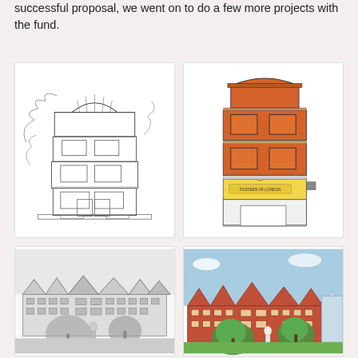successful proposal, we went on to do a few more projects with the fund.
[Figure (illustration): Architectural sketch drawing of a multi-storey building with arched windows and vegetation, shown in black and white line drawing style.]
[Figure (illustration): Coloured architectural elevation drawing of a Victorian-style building facade with orange/brick upper floors and yellow shopfront at ground level reading 'Fosters of London'.]
[Figure (illustration): Black and white photograph or drawing of a row of Victorian mansion-block buildings with gabled rooflines and a statue and trees in the foreground.]
[Figure (illustration): Colour illustration of the same Victorian mansion-block buildings with red brick facades, green trees, a white statue, and blue sky background.]